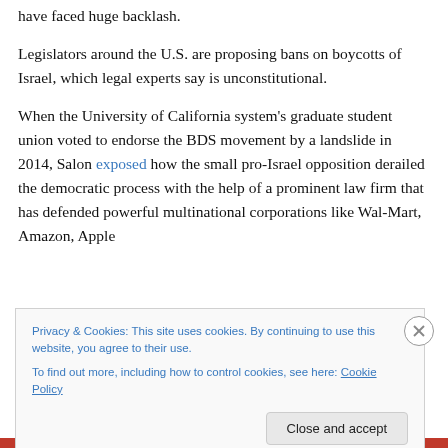have faced huge backlash.
Legislators around the U.S. are proposing bans on boycotts of Israel, which legal experts say is unconstitutional.
When the University of California system’s graduate student union voted to endorse the BDS movement by a landslide in 2014, Salon exposed how the small pro-Israel opposition derailed the democratic process with the help of a prominent law firm that has defended powerful multinational corporations like Wal-Mart, Amazon, Apple
Privacy & Cookies: This site uses cookies. By continuing to use this website, you agree to their use.
To find out more, including how to control cookies, see here: Cookie Policy
Close and accept